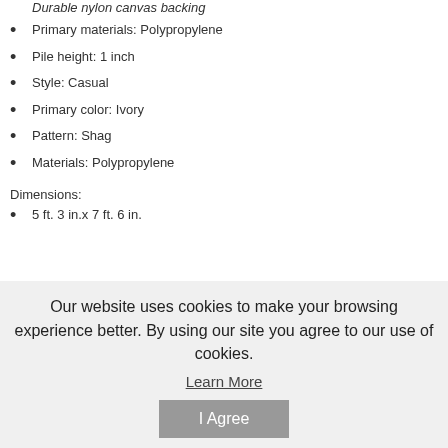Durable nylon canvas backing
Primary materials: Polypropylene
Pile height: 1 inch
Style: Casual
Primary color: Ivory
Pattern: Shag
Materials: Polypropylene
Dimensions:
5 ft. 3 in.x 7 ft. 6 in.
Our website uses cookies to make your browsing experience better. By using our site you agree to our use of cookies.
Learn More
I Agree